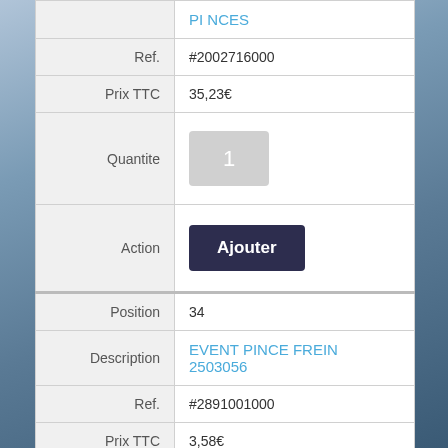|  | PI NCES |
| Ref. | #2002716000 |
| Prix TTC | 35,23€ |
| Quantite | 1 |
| Action | Ajouter |
| Position | 34 |
| Description | EVENT PINCE FREIN 2503056 |
| Ref. | #2891001000 |
| Prix TTC | 3,58€ |
| Quantite | 1 |